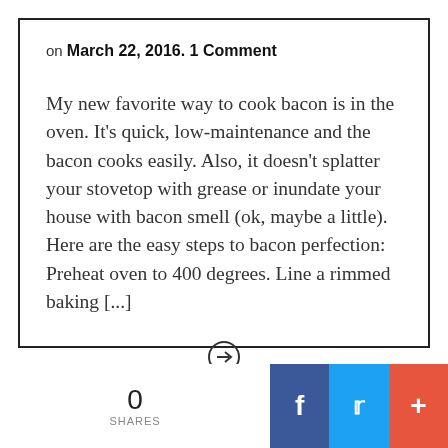on March 22, 2016. 1 Comment
My new favorite way to cook bacon is in the oven. It's quick, low-maintenance and the bacon cooks easily. Also, it doesn't splatter your stovetop with grease or inundate your house with bacon smell (ok, maybe a little). Here are the easy steps to bacon perfection: Preheat oven to 400 degrees. Line a rimmed baking [...]
[Figure (other): Circled right-arrow link button]
0 SHARES | Facebook share | Twitter share | Plus share